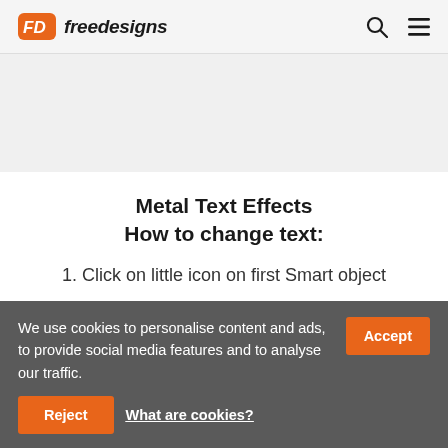FD freedesigns
Metal Text Effects
How to change text:
1. Click on little icon on first Smart object
2. Change your text
We use cookies to personalise content and ads, to provide social media features and to analyse our traffic. Accept Reject What are cookies?